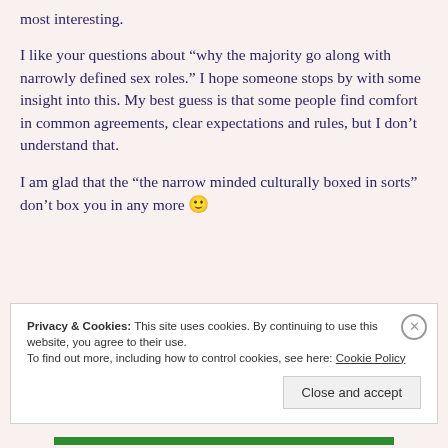most interesting.
I like your questions about “why the majority go along with narrowly defined sex roles.” I hope someone stops by with some insight into this. My best guess is that some people find comfort in common agreements, clear expectations and rules, but I don’t understand that.
I am glad that the “the narrow minded culturally boxed in sorts” don’t box you in any more 🙂
Privacy & Cookies: This site uses cookies. By continuing to use this website, you agree to their use.
To find out more, including how to control cookies, see here: Cookie Policy
Close and accept